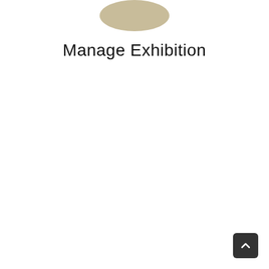[Figure (illustration): A rounded oval/pill shape in a tan/khaki beige color, partially visible at the top of the page, centered horizontally.]
Manage Exhibition
[Figure (other): A dark rounded square button with an upward-pointing chevron/caret arrow icon, positioned at the bottom-right corner of the page (scroll-to-top button).]